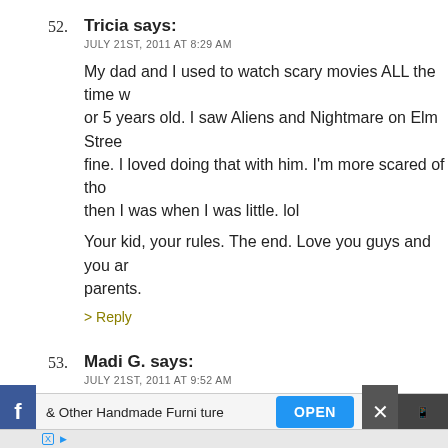52. Tricia says: JULY 21ST, 2011 AT 8:29 AM
My dad and I used to watch scary movies ALL the time when I was 4 or 5 years old. I saw Aliens and Nightmare on Elm Street and I turned out fine. I loved doing that with him. I'm more scared of those movies now then I was when I was little. lol
Your kid, your rules. The end. Love you guys and you are amazing parents.
> Reply
53. Madi G. says: JULY 21ST, 2011 AT 9:52 AM
In my experience of being a parent and a nanny, I can tell you with absolute certainty that the kids who are easily frightened were never exposed to anything that's potentially "scary." These kids tend to be emotionally immature and very sheltered.
It's a self-perpetuating problem. Shelter the child and th...